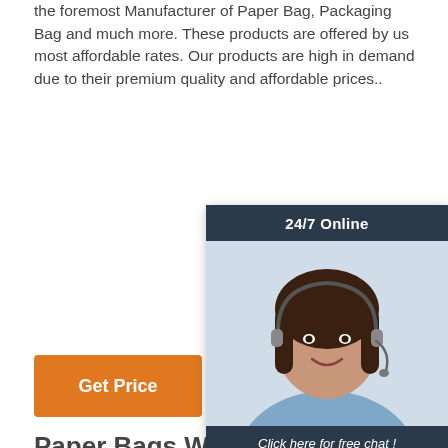the foremost Manufacturer of Paper Bag, Packaging Bag and much more. These products are offered by us most affordable rates. Our products are high in demand due to their premium quality and affordable prices..
[Figure (other): 24/7 Online chat widget with a smiling customer service representative wearing a headset. Dark navy header with '24/7 Online', photo of representative, dark footer with 'Click here for free chat!', and orange 'QUOTATION' button.]
Get Price
Paper Bags With Handles For Shopping ... - Canada Brown
Wholesale Pricing on Paper Bags with Handles for Takeout & Shopping. Available in Natural Kraft, White and Custom Printed Options. Hundreds of...
[Figure (logo): TOP logo with orange dots arranged in triangle above orange letters 'TOP']